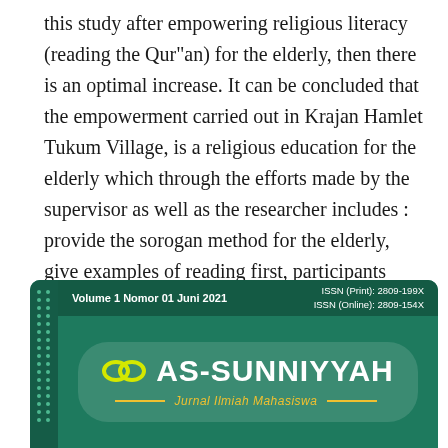this study after empowering religious literacy (reading the Qur"an) for the elderly, then there is an optimal increase. It can be concluded that the empowerment carried out in Krajan Hamlet Tukum Village, is a religious education for the elderly which through the efforts made by the supervisor as well as the researcher includes : provide the sorogan method for the elderly, give examples of reading first, participants repeat the material that has been submitted by the supervisor and evaluate the participants
[Figure (logo): AS-SUNNIYYAH journal banner with teal background, volume info, ISSN numbers, infinity-loop logo, and subtitle 'Jurnal Ilmiah Mahasiswa']